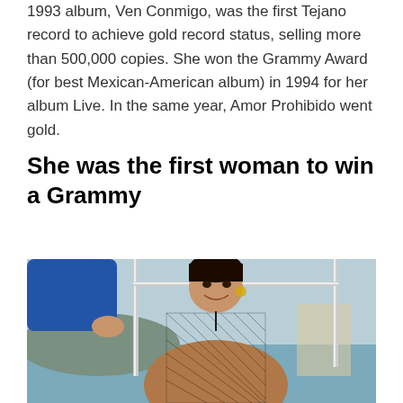1993 album, Ven Conmigo, was the first Tejano record to achieve gold record status, selling more than 500,000 copies. She won the Grammy Award (for best Mexican-American album) in 1994 for her album Live. In the same year, Amor Prohibido went gold.
She was the first woman to win a Grammy
[Figure (photo): Photo of a young Latina woman smiling, wearing a black mesh top, standing near metal railings on what appears to be a boat or dock, with water and hills visible in the background. A person in a blue sleeve is partially visible on the left.]